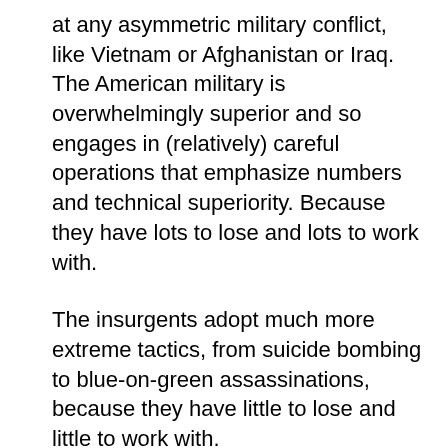at any asymmetric military conflict, like Vietnam or Afghanistan or Iraq. The American military is overwhelmingly superior and so engages in (relatively) careful operations that emphasize numbers and technical superiority. Because they have lots to lose and lots to work with.
The insurgents adopt much more extreme tactics, from suicide bombing to blue-on-green assassinations, because they have little to lose and little to work with.
Another stark example is the Israeli-Palestinian conflict, where–again–Israel is the cautious incumbent and the Palestinians are the reckless insurgents.